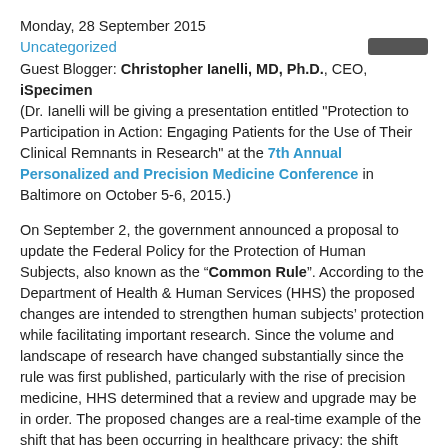Monday, 28 September 2015
Uncategorized
Guest Blogger: Christopher Ianelli, MD, Ph.D., CEO, iSpecimen
(Dr. Ianelli will be giving a presentation entitled "Protection to Participation in Action: Engaging Patients for the Use of Their Clinical Remnants in Research" at the 7th Annual Personalized and Precision Medicine Conference in Baltimore on October 5-6, 2015.
On September 2, the government announced a proposal to update the Federal Policy for the Protection of Human Subjects, also known as the “Common Rule”. According to the Department of Health & Human Services (HHS) the proposed changes are intended to strengthen human subjects’ protection while facilitating important research. Since the volume and landscape of research have changed substantially since the rule was first published, particularly with the rise of precision medicine, HHS determined that a review and upgrade may be in order. The proposed changes are a real-time example of the shift that has been occurring in healthcare privacy: the shift from patient protection to protection and participation.
Untouched since its publication in 1991, the Common Rule ensures that all individuals enrolled in biomedical and behavioral research studies are accorded this alliance: a given of research autonomy and